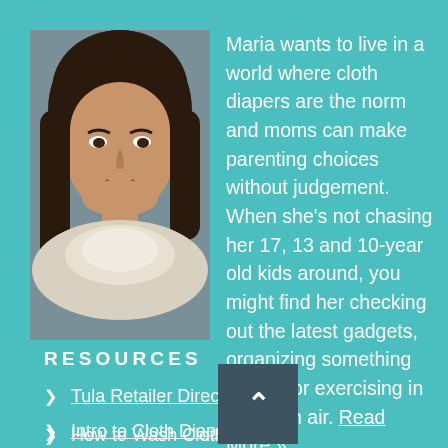[Figure (photo): Headshot photo of Maria, a woman with long dark brown hair wearing a white scarf, set against a teal/blue-grey background.]
Maria wants to live in a world where cloth diapers are the norm and moms can make parenting choices without judgement. When she's not chasing her 17, 13 and 10-year old kids around, you might find her checking out the latest gadgets, organizing something (again) or exercising in the fresh air. Read More »
RESOURCES
Tula Retailer Directory
Intro to Cloth Diapers
How to Wash Cloth Dia…